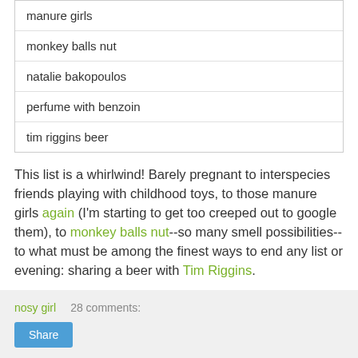manure girls
monkey balls nut
natalie bakopoulos
perfume with benzoin
tim riggins beer
This list is a whirlwind! Barely pregnant to interspecies friends playing with childhood toys, to those manure girls again (I'm starting to get too creeped out to google them), to monkey balls nut--so many smell possibilities--to what must be among the finest ways to end any list or evening: sharing a beer with Tim Riggins.
nosy girl   28 comments:
Share
cheer thrill